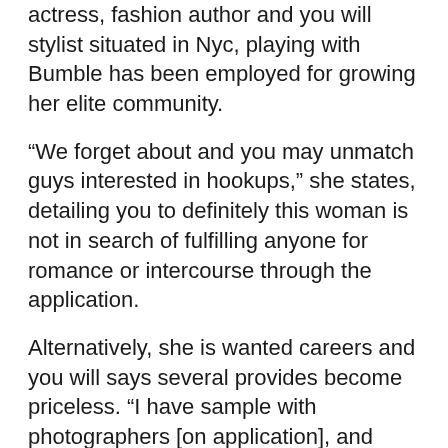actress, fashion author and you will stylist situated in Nyc, playing with Bumble has been employed for growing her elite community.
“We forget about and you may unmatch guys interested in hookups,” she states, detailing you to definitely this woman is not in search of fulfilling anyone for romance or intercourse through the application.
Alternatively, she is wanted careers and you will says several provides become priceless. “I have sample with photographers [on application], and have now found chill guys who do work in vogue,” she claims. “It is given me use of other situations in order to see most other high and winning gifted some one.”
Just like the a journalist, element usa sex guide ma